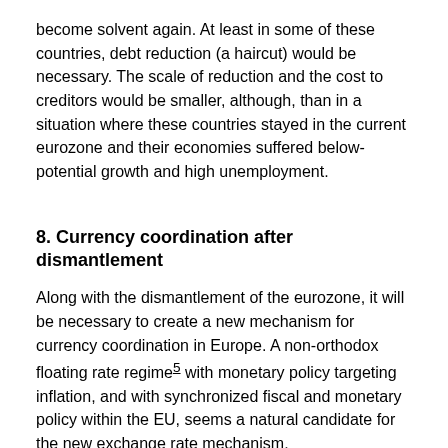become solvent again. At least in some of these countries, debt reduction (a haircut) would be necessary. The scale of reduction and the cost to creditors would be smaller, although, than in a situation where these countries stayed in the current eurozone and their economies suffered below-potential growth and high unemployment.
8. Currency coordination after dismantlement
Along with the dismantlement of the eurozone, it will be necessary to create a new mechanism for currency coordination in Europe. A non-orthodox floating rate regime5 with monetary policy targeting inflation, and with synchronized fiscal and monetary policy within the EU, seems a natural candidate for the new exchange rate mechanism.
The perception of floating rate regimes has gone through different phases in the literature. In the interwar literature, mainly on the basis of the French experience from the 1920s, a floating exchange rate was believed to be inherently unstable.